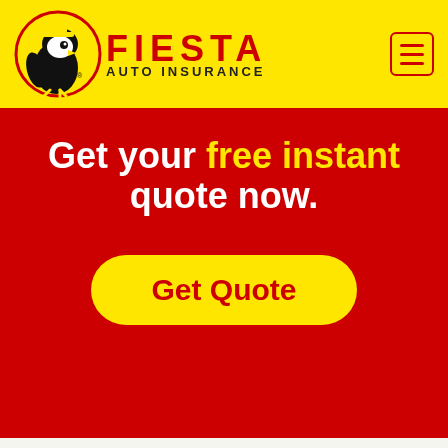[Figure (logo): Fiesta Auto Insurance logo with mascot bird character in yellow circle, red FIESTA text with AUTO INSURANCE subtitle, hamburger menu icon top right]
Get your free instant quote now.
[Figure (other): Yellow rounded rectangle button with red bold text 'Get Quote']
Fiesta Insurance and Tax is conveniently located at 2797 S. Maryland Parkway; Suite #25, Las Vegas, NV, 89109. Local owner Chris Ornelas and team provide the best and most affordable auto insurance and tax services for your family. Come visit us, give us a call 702-733-1010 or send us an email FiestaNV003@FiestaInsurance.com for all of your